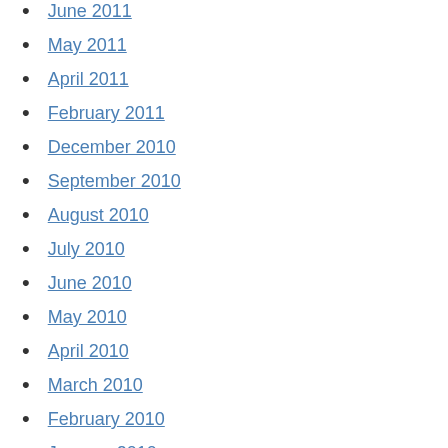June 2011
May 2011
April 2011
February 2011
December 2010
September 2010
August 2010
July 2010
June 2010
May 2010
April 2010
March 2010
February 2010
January 2010
December 2009
November 2009
October 2009